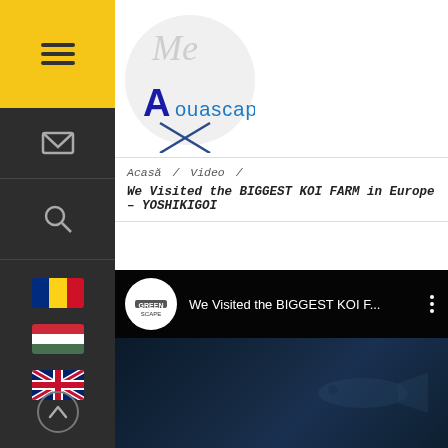[Figure (logo): Aquascaping website logo – circle with 'Me Aquascaping' text and stylized X]
Acasă / Video /
We Visited the BIGGEST KOI FARM in Europe – YOSHIKIGOI
[Figure (screenshot): YouTube video player showing 'We Visited the BIGGEST KOI F...' with GreenScape channel logo, dark underwater background]